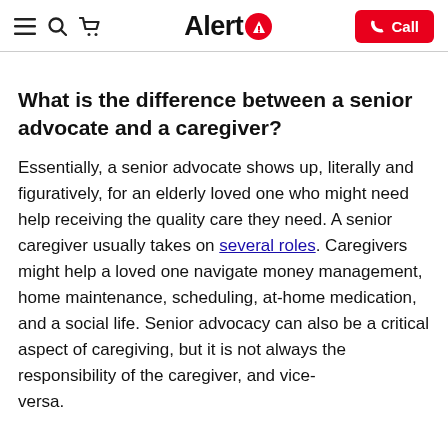Alert1 — Call
What is the difference between a senior advocate and a caregiver?
Essentially, a senior advocate shows up, literally and figuratively, for an elderly loved one who might need help receiving the quality care they need. A senior caregiver usually takes on several roles. Caregivers might help a loved one navigate money management, home maintenance, scheduling, at-home medication, and a social life. Senior advocacy can also be a critical aspect of caregiving, but it is not always the responsibility of the caregiver, and vice-versa.